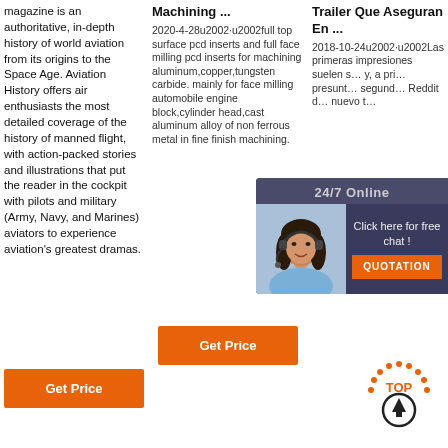magazine is an authoritative, in-depth history of world aviation from its origins to the Space Age. Aviation History offers air enthusiasts the most detailed coverage of the history of manned flight, with action-packed stories and illustrations that put the reader in the cockpit with pilots and military (Army, Navy, and Marines) aviators to experience aviation's greatest dramas.
Machining ...
2020-4-28u2002·u2002full top surface pcd inserts and full face milling pcd inserts for machining aluminum,copper,tungsten carbide. mainly for face milling automobile engine block,cylinder head,cast aluminum alloy of non ferrous metal in fine finish machining.
Trailer Que Aseguran En ...
2018-10-24u2002·u2002Las primeras impresiones suelen s… y, a pri… presunt… segund… Reddit d… nuevo t…
[Figure (photo): Chat widget overlay showing a woman with headset, 24/7 Online label, Click here for free chat text, and QUOTATION button in orange]
[Figure (other): TOP arrow icon in orange and black at bottom right]